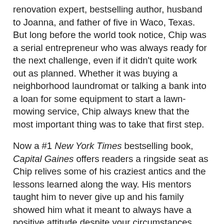renovation expert, bestselling author, husband to Joanna, and father of five in Waco, Texas. But long before the world took notice, Chip was a serial entrepreneur who was always ready for the next challenge, even if it didn't quite work out as planned. Whether it was buying a neighborhood laundromat or talking a bank into a loan for some equipment to start a lawn-mowing service, Chip always knew that the most important thing was to take that first step.
Now a #1 New York Times bestselling book, Capital Gaines offers readers a ringside seat as Chip relives some of his craziest antics and the lessons learned along the way. His mentors taught him to never give up and his family showed him what it meant to always have a positive attitude despite your circumstances. Throw in a natural daredevil personality and a willingness to do (or eat!) just about anything, and you have the life and daily activity of Chip Gaines.